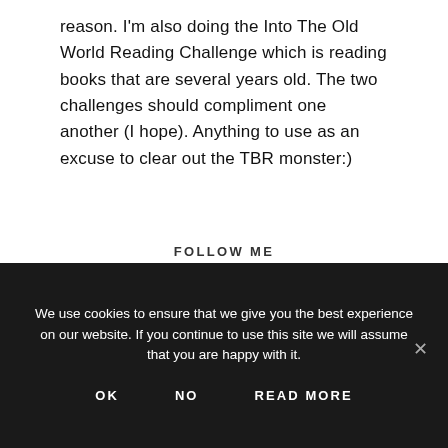reason. I'm also doing the Into The Old World Reading Challenge which is reading books that are several years old. The two challenges should compliment one another (I hope). Anything to use as an excuse to clear out the TBR monster:)
FOLLOW ME
We use cookies to ensure that we give you the best experience on our website. If you continue to use this site we will assume that you are happy with it.
OK   NO   READ MORE